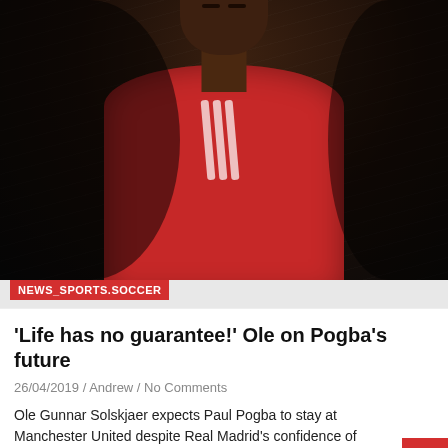[Figure (photo): Paul Pogba in Manchester United red jersey, looking upward, dark rainy background]
NEWS_SPORTS.SOCCER
'Life has no guarantee!' Ole on Pogba's future
26/04/2019 / Andrew / No Comments
Ole Gunnar Solskjaer expects Paul Pogba to stay at Manchester United despite Real Madrid's confidence of signing…
[Figure (photo): Ole Gunnar Solskjaer, grey-haired man in dark jacket]